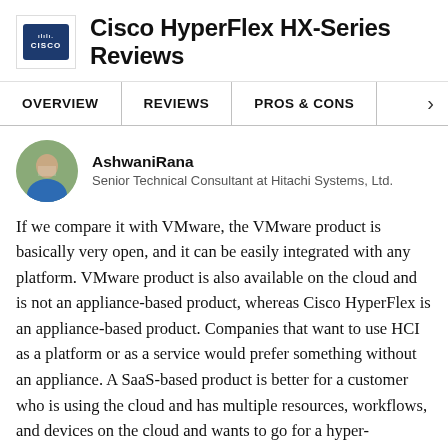Cisco HyperFlex HX-Series Reviews
OVERVIEW | REVIEWS | PROS & CONS >
AshwaniRana
Senior Technical Consultant at Hitachi Systems, Ltd.
If we compare it with VMware, the VMware product is basically very open, and it can be easily integrated with any platform. VMware product is also available on the cloud and is not an appliance-based product, whereas Cisco HyperFlex is an appliance-based product. Companies that want to use HCI as a platform or as a service would prefer something without an appliance. A SaaS-based product is better for a customer who is using the cloud and has multiple resources, workflows, and devices on the cloud and wants to go for a hyper-converged solution. This is where improvement is needed. In addition to an appliance-based product, Cisco should provide a SaaS-based product.